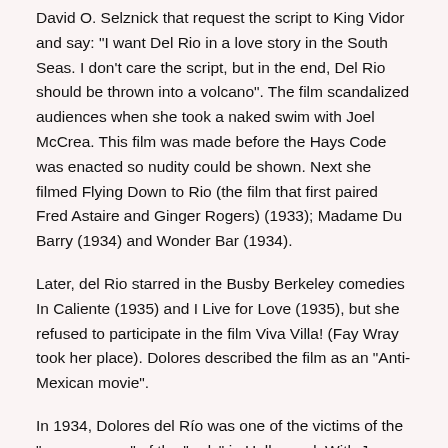David O. Selznick that request the script to King Vidor and say: "I want Del Rio in a love story in the South Seas. I don't care the script, but in the end, Del Rio should be thrown into a volcano". The film scandalized audiences when she took a naked swim with Joel McCrea. This film was made before the Hays Code was enacted so nudity could be shown. Next she filmed Flying Down to Rio (the film that first paired Fred Astaire and Ginger Rogers) (1933); Madame Du Barry (1934) and Wonder Bar (1934).
Later, del Rio starred in the Busby Berkeley comedies In Caliente (1935) and I Live for Love (1935), but she refused to participate in the film Viva Villa! (Fay Wray took her place). Dolores described the film as an "Anti-Mexican movie".
In 1934, Dolores del Río was one of the victims of the "open season" of the "reds" in Hollywood. With James Cagney, Ramón Novarro and Lupe Vélez, she was accused of promoting communism in California. Twenty years later this would have consequences on her career.